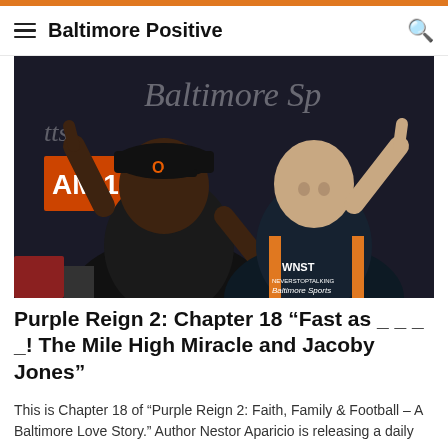Baltimore Positive
[Figure (photo): Two men posing together in front of a Baltimore sports radio station (WNST AM 1570) backdrop. The man on the left wears a black Baltimore Orioles cap and black t-shirt. The man on the right wears a WNST Baltimore Sports jacket with orange trim. Both are making hand gestures.]
Purple Reign 2: Chapter 18 “Fast as _ _ _ _! The Mile High Miracle and Jacoby Jones”
This is Chapter 18 of “Purple Reign 2: Faith, Family & Football – A Baltimore Love Story.” Author Nestor Aparicio is releasing a daily